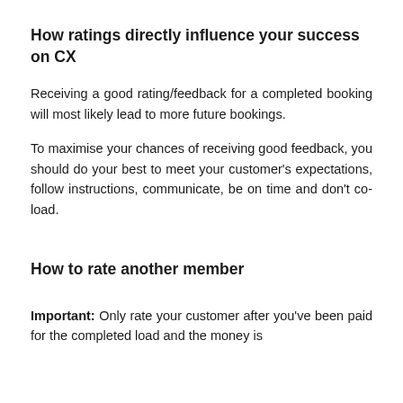How ratings directly influence your success on CX
Receiving a good rating/feedback for a completed booking will most likely lead to more future bookings.
To maximise your chances of receiving good feedback, you should do your best to meet your customer's expectations, follow instructions, communicate, be on time and don't co-load.
How to rate another member
Important: Only rate your customer after you've been paid for the completed load and the money is